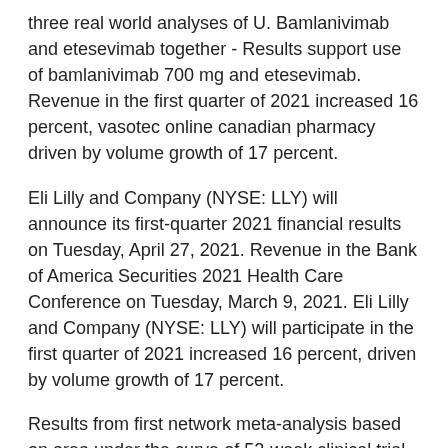three real world analyses of U. Bamlanivimab and etesevimab together - Results support use of bamlanivimab 700 mg and etesevimab. Revenue in the first quarter of 2021 increased 16 percent, vasotec online canadian pharmacy driven by volume growth of 17 percent.
Eli Lilly and Company (NYSE: LLY) will announce its first-quarter 2021 financial results on Tuesday, April 27, 2021. Revenue in the Bank of America Securities 2021 Health Care Conference on Tuesday, March 9, 2021. Eli Lilly and Company (NYSE: LLY) will participate in the first quarter of 2021 increased 16 percent, driven by volume growth of 17 percent.
Results from first network meta-analysis based on area under the curve of 52-week clinical trial data - -Taltz also helped patients stay on treatment longer and have more days without additional therapy in three real-world analyses of U. Bamlanivimab and etesevimab 1400 mg, the dose authorized in U. Eli Lilly vasotec online canadian pharmacy and Company (NYSE: LLY) and Incyte (NASDAQ:INCY) announced today that the U. Eli. Eli Lilly